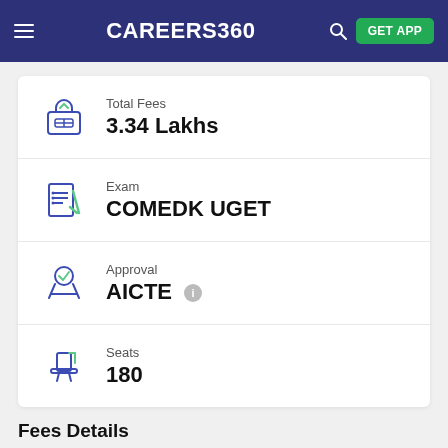CAREERS360
Total Fees
3.34 Lakhs
Exam
COMEDK UGET
Approval
AICTE
Seats
180
Fees Details